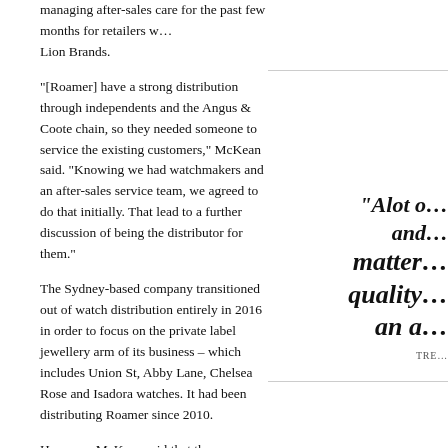managing after-sales care for the past few months for retailers w... Lion Brands.
"[Roamer] have a strong distribution through independents and the Angus & Coote chain, so they needed someone to service the existing customers," McKean said. "Knowing we had watchmakers and an after-sales service team, we agreed to do that initially. That lead to a further discussion of being the distributor for them."
The Sydney-based company transitioned out of watch distribution entirely in 2016 in order to focus on the private label jewellery arm of its business – which includes Union St, Abby Lane, Chelsea Rose and Isadora watches. It had been distributing Roamer since 2010.
However, McKean said that there were several compelling reason... Roamer, calling it "a good fit" for the business.
"We have had previous success with the brand and it's just some...
[Figure (other): Pull quote reading: "Alot o... and... matter... quality... an a..." with attribution TRE...]